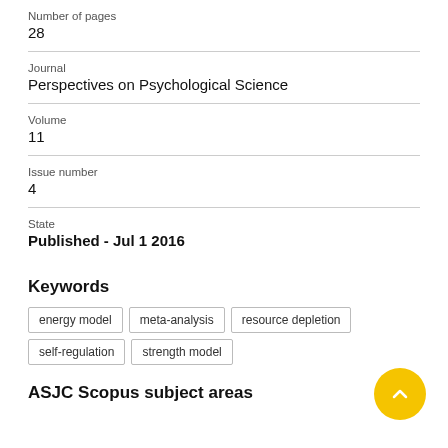Number of pages
28
Journal
Perspectives on Psychological Science
Volume
11
Issue number
4
State
Published - Jul 1 2016
Keywords
energy model
meta-analysis
resource depletion
self-regulation
strength model
ASJC Scopus subject areas